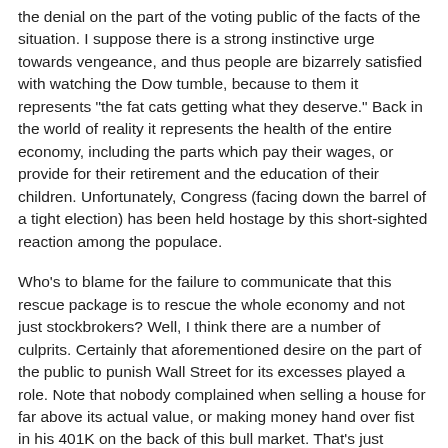the denial on the part of the voting public of the facts of the situation. I suppose there is a strong instinctive urge towards vengeance, and thus people are bizarrely satisfied with watching the Dow tumble, because to them it represents "the fat cats getting what they deserve." Back in the world of reality it represents the health of the entire economy, including the parts which pay their wages, or provide for their retirement and the education of their children. Unfortunately, Congress (facing down the barrel of a tight election) has been held hostage by this short-sighted reaction among the populace.
Who's to blame for the failure to communicate that this rescue package is to rescue the whole economy and not just stockbrokers? Well, I think there are a number of culprits. Certainly that aforementioned desire on the part of the public to punish Wall Street for its excesses played a role. Note that nobody complained when selling a house for far above its actual value, or making money hand over fist in his 401K on the back of this bull market. That's just Capitalism in action, baby! Congressional leaders did a decidedly poor job of communicating the situation to the public (and it was on